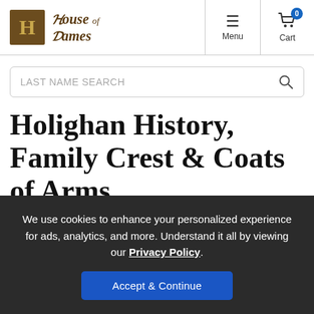House of Names — Menu | Cart (0)
LAST NAME SEARCH
Holighan History, Family Crest & Coats of Arms
We use cookies to enhance your personalized experience for ads, analytics, and more. Understand it all by viewing our Privacy Policy.
Accept & Continue